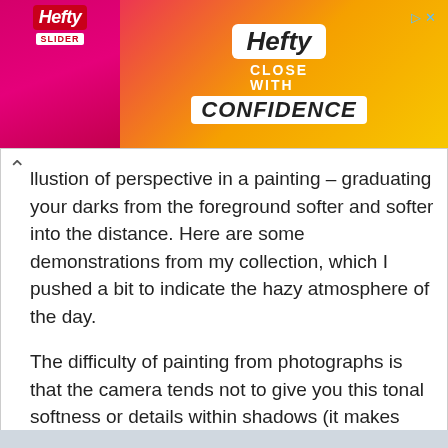[Figure (photo): Hefty Slider Bags advertisement banner. Pink/magenta and yellow/orange gradient background. Left side shows Hefty Slider product packaging. Right side shows Hefty logo in white box, text 'CLOSE WITH' and 'CONFIDENCE' in white/black.]
llustion of perspective in a painting – graduating your darks from the foreground softer and softer into the distance. Here are some demonstrations from my collection, which I pushed a bit to indicate the hazy atmosphere of the day.
The difficulty of painting from photographs is that the camera tends not to give you this tonal softness or details within shadows (it makes them more black/dk grey) so we as artists, need to be aware of this and compensate where needed…